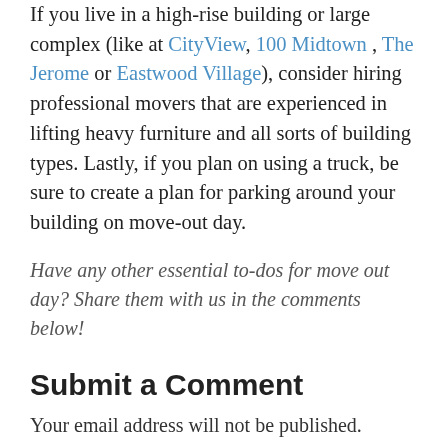If you live in a high-rise building or large complex (like at CityView, 100 Midtown , The Jerome or Eastwood Village), consider hiring professional movers that are experienced in lifting heavy furniture and all sorts of building types. Lastly, if you plan on using a truck, be sure to create a plan for parking around your building on move-out day.
Have any other essential to-dos for move out day? Share them with us in the comments below!
Submit a Comment
Your email address will not be published.